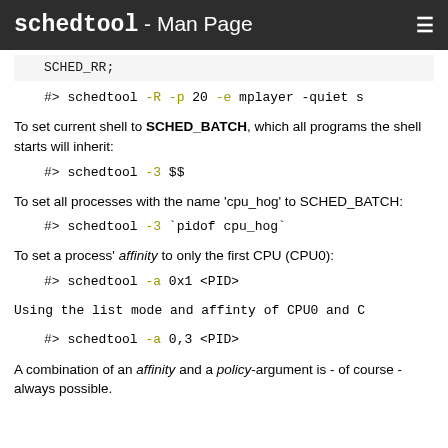schedtool - Man Page
SCHED_RR;
#> schedtool -R -p 20 -e mplayer -quiet s
To set current shell to SCHED_BATCH, which all programs the shell starts will inherit:
#> schedtool -3 $$
To set all processes with the name 'cpu_hog' to SCHED_BATCH:
#> schedtool -3 `pidof cpu_hog`
To set a process' affinity to only the first CPU (CPU0):
#> schedtool -a 0x1 <PID>
Using the list mode and affinty of CPU0 and C
#> schedtool -a 0,3 <PID>
A combination of an affinity and a policy-argument is - of course - always possible.